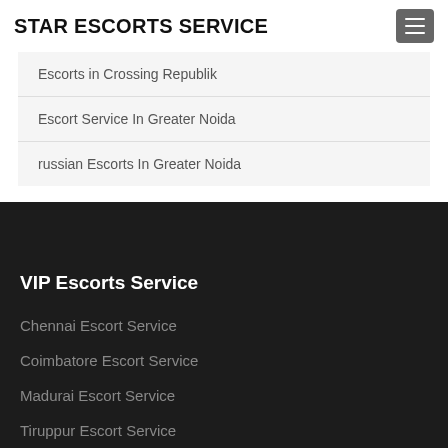STAR ESCORTS SERVICE
Escorts in Crossing Republik
Escort Service In Greater Noida
russian Escorts In Greater Noida
VIP Escorts Service
Chennai Escort Service
Coimbatore Escort Service
Madurai Escort Service
Tiruppur Escort Service